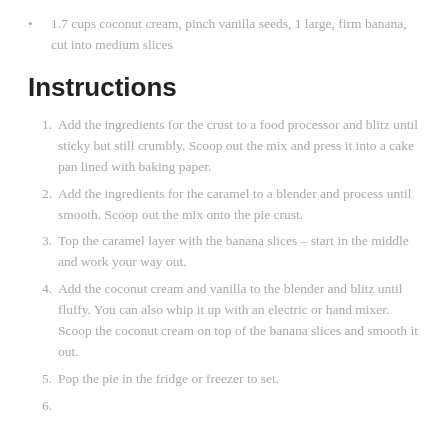1.7 cups coconut cream, pinch vanilla seeds, 1 large, firm banana, cut into medium slices
Instructions
1. Add the ingredients for the crust to a food processor and blitz until sticky but still crumbly. Scoop out the mix and press it into a cake pan lined with baking paper.
2. Add the ingredients for the caramel to a blender and process until smooth. Scoop out the mix onto the pie crust.
3. Top the caramel layer with the banana slices – start in the middle and work your way out.
4. Add the coconut cream and vanilla to the blender and blitz until fluffy. You can also whip it up with an electric or hand mixer. Scoop the coconut cream on top of the banana slices and smooth it out.
5. Pop the pie in the fridge or freezer to set.
6. [text cut off]